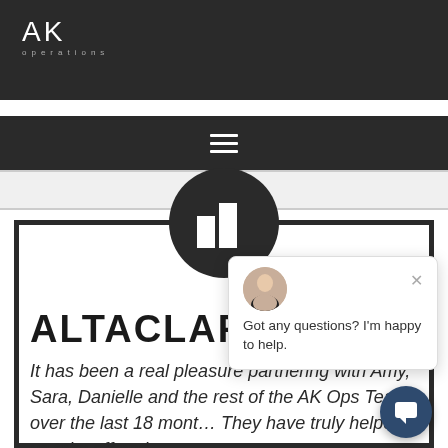[Figure (logo): AK Operations logo in white text on dark background header]
[Figure (illustration): Hamburger menu icon (three horizontal lines) on dark background]
[Figure (illustration): Dark circular logo with building/bar chart icon centered above content card]
ALTACLARO
It has been a real pleasure partnering with Amy, Sara, Danielle and the rest of the AK Ops Team over the last 18 months. They have truly helped us take off and
[Figure (screenshot): Live chat popup with avatar photo, close button, and message: Got any questions? I'm happy to help.]